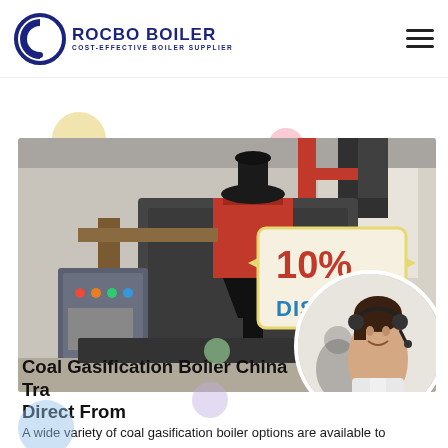ROCBO BOILER — COST-EFFECTIVE BOILER SUPPLIER
[Figure (photo): Industrial coal gasification boiler equipment in a factory setting with red cylindrical component and control panel, overlaid with a 10% DISCOUNT badge and a customer service representative photo]
Coal Gasification Boiler China Trade Direct From
A wide variety of coal gasification boiler options are available to